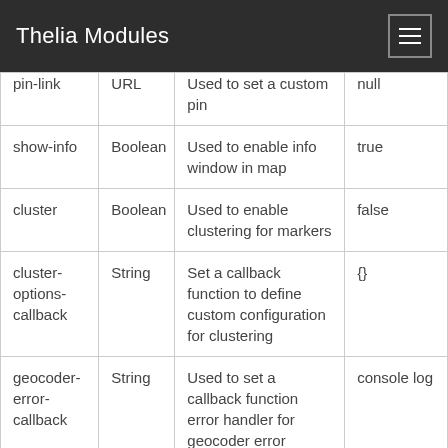Thelia Modules
| Attribute | Type | Description | Default |
| --- | --- | --- | --- |
| pin-link | URL | Used to set a custom pin | null |
| show-info | Boolean | Used to enable info window in map | true |
| cluster | Boolean | Used to enable clustering for markers | false |
| cluster-options-callback | String | Set a callback function to define custom configuration for clustering | {} |
| geocoder-error-callback | String | Used to set a callback function error handler for geocoder error | console log |